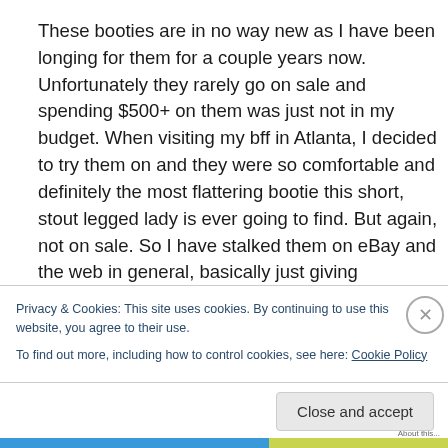These booties are in no way new as I have been longing for them for a couple years now. Unfortunately they rarely go on sale and spending $500+ on them was just not in my budget. When visiting my bff in Atlanta, I decided to try them on and they were so comfortable and definitely the most flattering bootie this short, stout legged lady is ever going to find. But again, not on sale. So I have stalked them on eBay and the web in general, basically just giving
Privacy & Cookies: This site uses cookies. By continuing to use this website, you agree to their use.
To find out more, including how to control cookies, see here: Cookie Policy
Close and accept